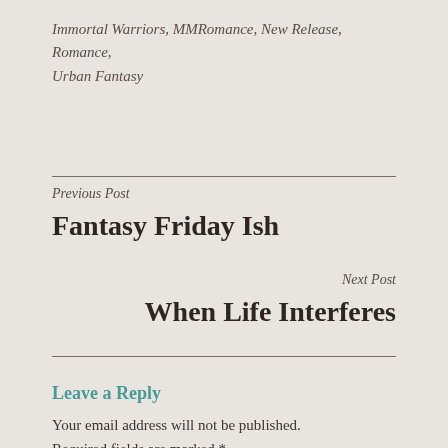Immortal Warriors, MMRomance, New Release, Romance, Urban Fantasy
Previous Post
Fantasy Friday Ish
Next Post
When Life Interferes
Leave a Reply
Your email address will not be published. Required fields are marked *